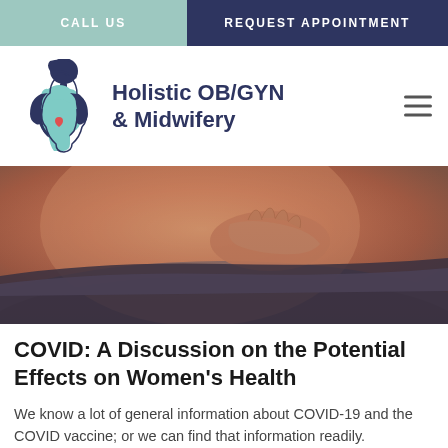CALL US | REQUEST APPOINTMENT
[Figure (logo): Holistic OB/GYN & Midwifery logo with illustration of pregnant woman silhouette in teal and navy]
[Figure (photo): Close-up photo of a pregnant woman's bare belly with hands, wearing dark pants, warm skin tones]
COVID: A Discussion on the Potential Effects on Women's Health
We know a lot of general information about COVID-19 and the COVID vaccine; or we can find that information readily.